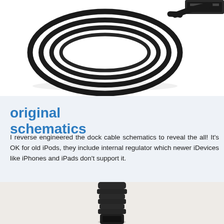[Figure (photo): Photo of a coiled black dock cable loop against a white background, with a USB connector visible at top right corner]
original schematics
I reverse engineered the dock cable schematics to reveal the all! It's OK for old iPods, they include internal regulator which newer iDevices like iPhones and iPads don't support it.
[Figure (photo): Photo of the bottom portion of a black dock connector plug with ribbed strain relief, against a light background]